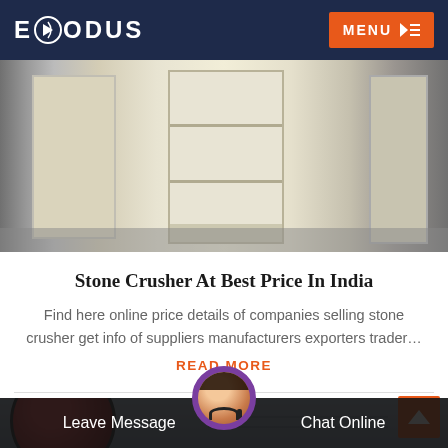EXODUS   MENU
[Figure (photo): Photo of a stone crusher machine showing white/cream colored metal shelving or housing structure in an industrial setting.]
Stone Crusher At Best Price In India
Find here online price details of companies selling stone crusher get info of suppliers manufacturers exporters trader…
READ MORE
[Figure (photo): Partial photo of industrial stone crusher machinery with red and white circular crusher component visible against a corrugated metal background.]
Leave Message   Chat Online